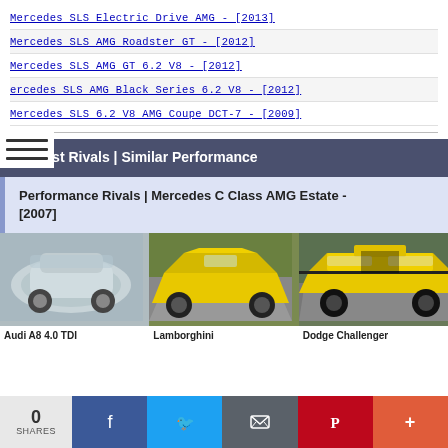Mercedes SLS Electric Drive AMG - [2013]
Mercedes SLS AMG Roadster GT - [2012]
Mercedes SLS AMG GT 6.2 V8 - [2012]
ercedes SLS AMG Black Series 6.2 V8 - [2012]
Mercedes SLS 6.2 V8 AMG Coupe DCT-7 - [2009]
Closest Rivals | Similar Performance
Performance Rivals | Mercedes C Class AMG Estate - [2007]
[Figure (photo): Silver Audi A8 4.0 TDI car photo]
[Figure (photo): Yellow Lamborghini car photo]
[Figure (photo): Yellow Dodge Challenger car photo]
Audi A8 4.0 TDI
Lamborghini
Dodge Challenger
0 SHARES | Facebook | Twitter | Email | Pinterest | More